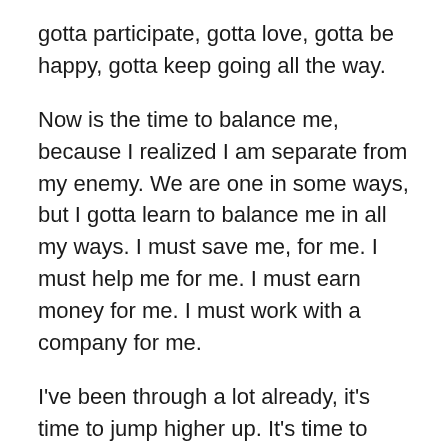gotta participate, gotta love, gotta be happy, gotta keep going all the way.
Now is the time to balance me, because I realized I am separate from my enemy. We are one in some ways, but I gotta learn to balance me in all my ways. I must save me, for me. I must help me for me. I must earn money for me. I must work with a company for me.
I've been through a lot already, it's time to jump higher up. It's time to keep jumping up. I will keep on jumping up with that right time up. After a year and up, when I have more than enough, I can start saving for my own house and lot. Even if it's just little as long as it is near me.
I will keep moving on and on to where I am going. I will go with the flow. I will not force myself to that place